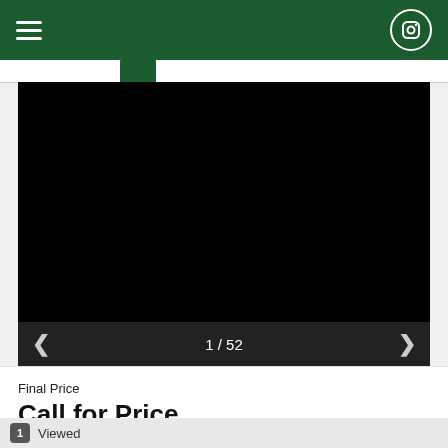Navigation bar with hamburger menu and Instagram icon
[Figure (photo): Black image placeholder in a product listing photo viewer]
1 / 52
Final Price
Call for Price
1  Viewed